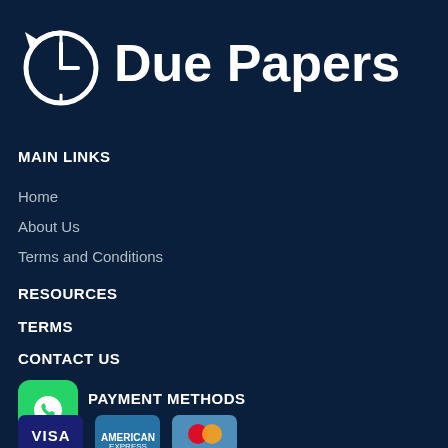[Figure (logo): Due Papers logo with clock/arrow icon and text 'Due Papers']
MAIN LINKS
Home
About Us
Terms and Conditions
RESOURCES
TERMS
CONTACT US
PAYMENT METHODS
[Figure (logo): WhatsApp icon (green rounded square)]
[Figure (logo): Visa payment card logo]
[Figure (logo): American Express payment card logo]
[Figure (logo): Mastercard payment card logo]